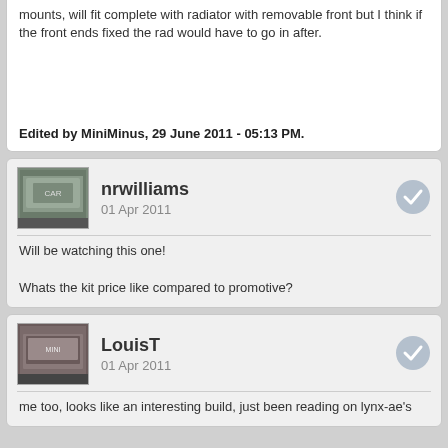mounts, will fit complete with radiator with removable front but I think if the front ends fixed the rad would have to go in after.
Edited by MiniMinus, 29 June 2011 - 05:13 PM.
nrwilliams
01 Apr 2011
Will be watching this one!

Whats the kit price like compared to promotive?
LouisT
01 Apr 2011
me too, looks like an interesting build, just been reading on lynx-ae's